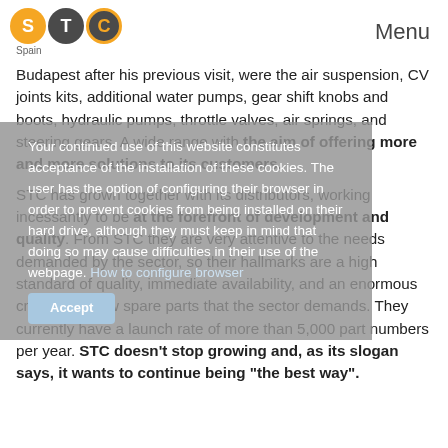STC Spain | Menu
Budapest after his previous visit, were the air suspension, CV joints kits, additional water pumps, gear shift knobs and boots, hydraulic pumps, throttle valves, air springs, and steering gears. A wide range with the aim of offering more and more solutions to its customers.
STC has grown together with its distributors, working incessantly to be at the forefront of development and quality. From STC they are very attentive to the needs demanded by the sector, so their hallmarks are a high standard of quality, immediate availability, and an enormous creation of new spare parts that the sector demands. They currently have a launch rate of more than 5,000 part numbers per year. STC doesn't stop growing and, as its slogan says, it wants to continue being “the best way”.